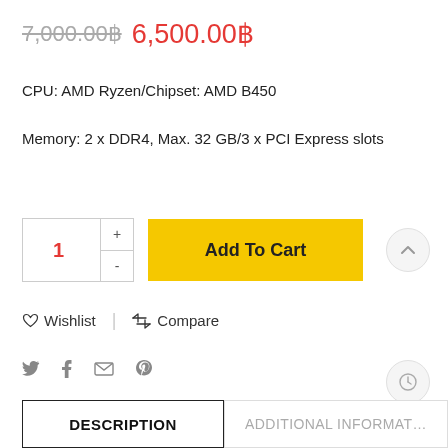7,000.00฿  6,500.00฿
CPU: AMD Ryzen/Chipset: AMD B450
Memory: 2 x DDR4, Max. 32 GB/3 x PCI Express slots
1  +  -  Add To Cart
Wishlist  |  Compare
social icons: twitter, facebook, email, pinterest
DESCRIPTION  ADDITIONAL INFORMATION
Basic Information